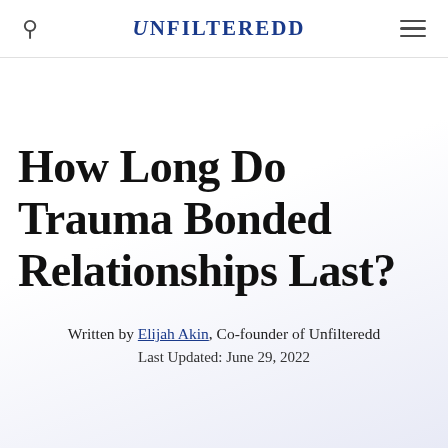UNFILTEREDD
How Long Do Trauma Bonded Relationships Last?
Written by Elijah Akin, Co-founder of Unfilteredd
Last Updated: June 29, 2022